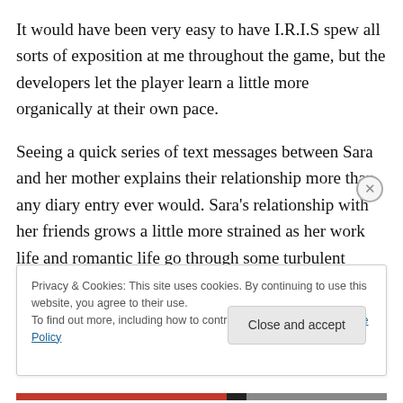It would have been very easy to have I.R.I.S spew all sorts of exposition at me throughout the game, but the developers let the player learn a little more organically at their own pace.
Seeing a quick series of text messages between Sara and her mother explains their relationship more than any diary entry ever would. Sara's relationship with her friends grows a little more strained as her work life and romantic life go through some turbulent times. The heartbreak of her break-up is made even more apparent when you
Privacy & Cookies: This site uses cookies. By continuing to use this website, you agree to their use.
To find out more, including how to control cookies, see here: Cookie Policy
Close and accept